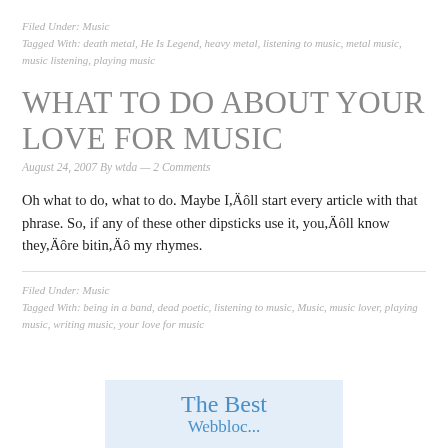Filed Under: Music
Tagged With: death metal, He Is Legend, heavy metal, listening to music, metal music, music listening, playing music
WHAT TO DO ABOUT YOUR LOVE FOR MUSIC
August 24, 2007 By wtda — 2 Comments
Oh what to do, what to do. Maybe I’ll start every article with that phrase. So, if any of these other dipsticks use it, you’ll know they’re bitin’ my rhymes.
Filed Under: Music
Tagged With: being in a band, dead poetic, listening to music, Music, music lover, playing music, writing music, your love for music
[Figure (illustration): Light blue advertisement box with text 'The Best Webbloc...' in blue serif font]